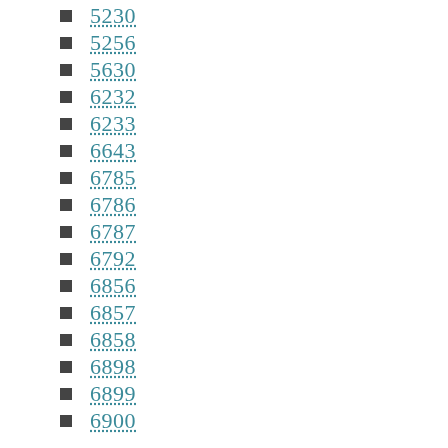5230
5256
5630
6232
6233
6643
6785
6786
6787
6792
6856
6857
6858
6898
6899
6900